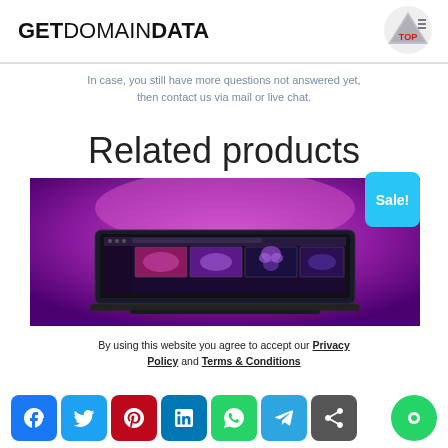GETDOMAINDATA
In case, you still have more questions not answered yet, then contact us via mail or live chat.
Related products
[Figure (screenshot): A laptop screen showing a purple-themed website gallery with multiple image thumbnails. The background is a vibrant purple/magenta gradient. A cyan 'Sale!' badge appears in the top-right corner of the image.]
By using this website you agree to accept our Privacy Policy and Terms & Conditions
[Figure (infographic): Social media share buttons row: Facebook, Twitter, Pinterest, LinkedIn, WhatsApp, Telegram, Share (plus), and a green chat circle button on the right.]